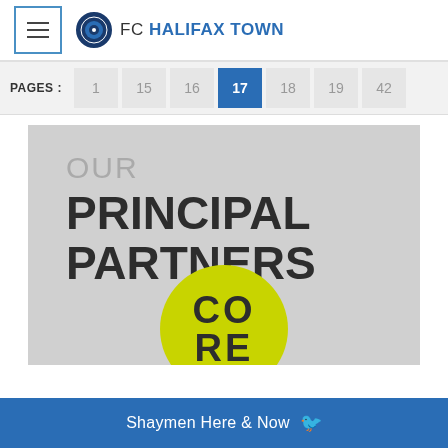FC HALIFAX TOWN
PAGES : 1 15 16 17 18 19 42
OUR PRINCIPAL PARTNERS
[Figure (logo): CORE logo - a yellow-green circle with the letters CO RE in bold black text]
Shaymen Here & Now